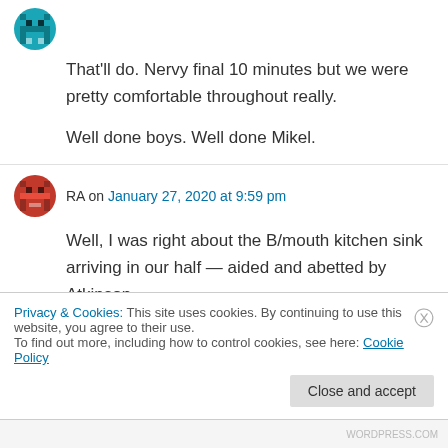That'll do. Nervy final 10 minutes but we were pretty comfortable throughout really.

Well done boys. Well done Mikel.
RA on January 27, 2020 at 9:59 pm
Well, I was right about the B/mouth kitchen sink arriving in our half — aided and abetted by Atkinson.
Privacy & Cookies: This site uses cookies. By continuing to use this website, you agree to their use.
To find out more, including how to control cookies, see here: Cookie Policy
Close and accept